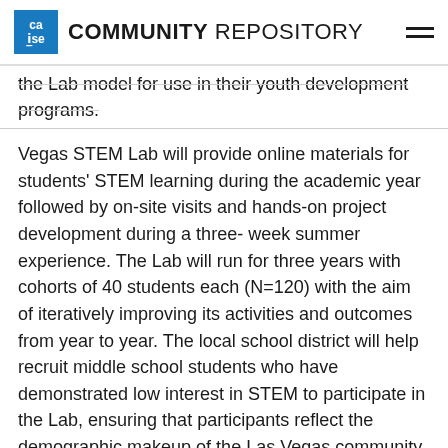ca|se COMMUNITY REPOSITORY
the Lab model for use in their youth development programs.
Vegas STEM Lab will provide online materials for students' STEM learning during the academic year followed by on-site visits and hands-on project development during a three-week summer experience. The Lab will run for three years with cohorts of 40 students each (N=120) with the aim of iteratively improving its activities and outcomes from year to year. The local school district will help recruit middle school students who have demonstrated low interest in STEM to participate in the Lab, ensuring that participants reflect the demographic makeup of the Las Vegas community in terms of race and ethnicity, socio-economic status, and gender. Summer activities will take students behind the scenes of the city's major E&H venues; investigate the workings of large-scale displays, light shows, and “smart hospitality” systems; and then build their own smaller scale engineering